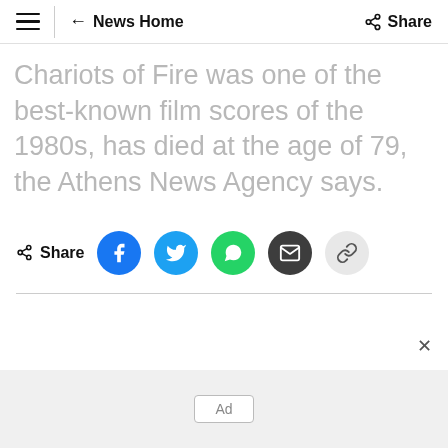≡ | ← News Home   Share
Chariots of Fire was one of the best-known film scores of the 1980s, has died at the age of 79, the Athens News Agency says.
Share [Facebook] [Twitter] [WhatsApp] [Email] [Link]
Ad